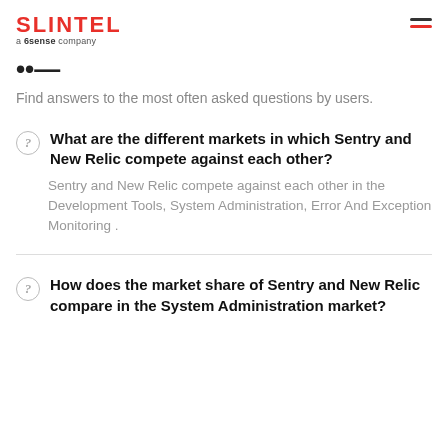SLINTEL a 6sense company
Find answers to the most often asked questions by users.
What are the different markets in which Sentry and New Relic compete against each other?
Sentry and New Relic compete against each other in the Development Tools, System Administration, Error And Exception Monitoring .
How does the market share of Sentry and New Relic compare in the System Administration market?